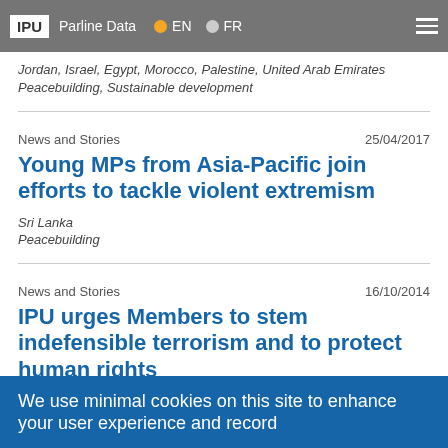IPU | Parline Data | EN | FR
Jordan, Israel, Egypt, Morocco, Palestine, United Arab Emirates
Peacebuilding, Sustainable development
News and Stories   25/04/2017
Young MPs from Asia-Pacific join efforts to tackle violent extremism
Sri Lanka
Peacebuilding
News and Stories   16/10/2014
IPU urges Members to stem indefensible terrorism and to protect human rights
Switzerland
We use minimal cookies on this site to enhance your user experience and record